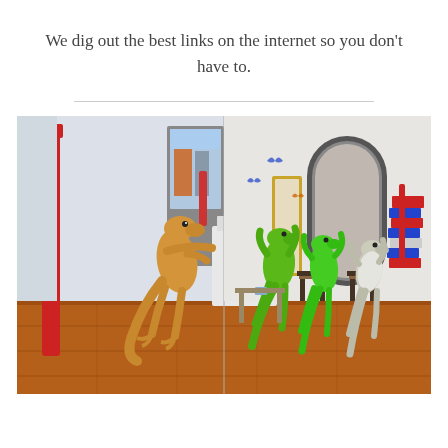We dig out the best links on the internet so you don't have to.
[Figure (illustration): A 3D rendered scene showing animated gecko/lizard characters in two settings: on the left, a golden gecko stands at a phone store counter with devices displayed; on the right, green geckos are in an interior room scene with an arched mirror, chairs, and colorful stacked items. Butterflies float in the background. The scene appears to be a humorous advertisement parody.]